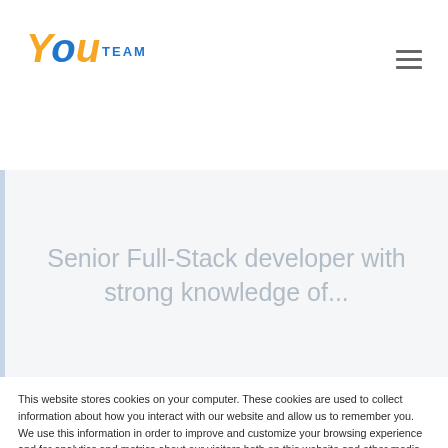[Figure (logo): YouTeam logo with 'You' in stylized italic text (y and u in orange, o in blue) and 'TEAM' in small blue caps]
Senior Full-Stack developer with strong knowledge of...
This website stores cookies on your computer. These cookies are used to collect information about how you interact with our website and allow us to remember you. We use this information in order to improve and customize your browsing experience and for analytics and metrics about our visitors both on this website and other media. To find out more about the cookies we use, see our Privacy Policy.
If you decline, your information won't be tracked when you visit this website. A single cookie will be used in your browser to remember your preference not to be tracked.